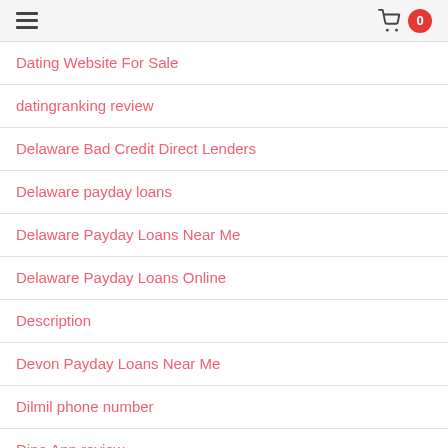Navigation menu with hamburger icon and cart with badge 0
Dating Website For Sale
datingranking review
Delaware Bad Credit Direct Lenders
Delaware payday loans
Delaware Payday Loans Near Me
Delaware Payday Loans Online
Description
Devon Payday Loans Near Me
Dilmil phone number
Dine App review
Dine App tips